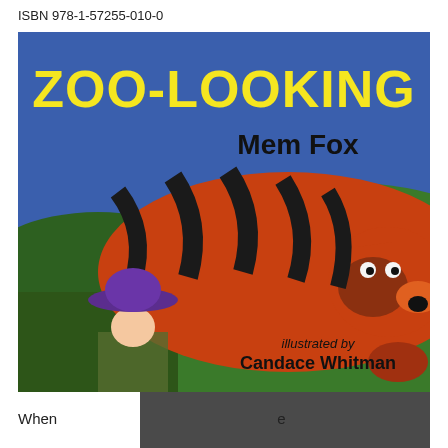ISBN 978-1-57255-010-0
[Figure (illustration): Book cover of Zoo-Looking by Mem Fox, illustrated by Candace Whitman. Features a colorful collage-style illustration of a large orange and black striped tiger lying down, with a child wearing a purple hat viewed from behind looking at the tiger. Blue sky and green hills in background. Title 'ZOO-LOOKING' in large yellow bold text at top, 'Mem Fox' in dark bold text below it, and 'illustrated by Candace Whitman' in italic text at bottom right.]
When                                                          e